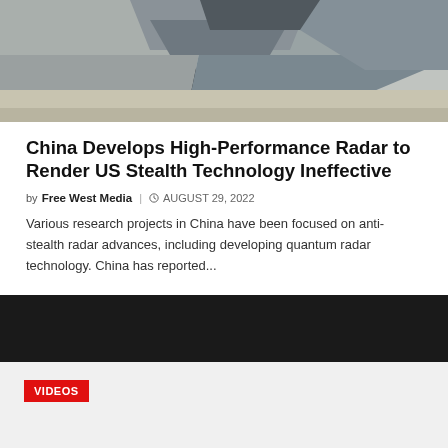[Figure (photo): Stealth aircraft or angular military structure photographed from below, showing geometric angular shapes in gray tones against a light background]
China Develops High-Performance Radar to Render US Stealth Technology Ineffective
by Free West Media  AUGUST 29, 2022
Various research projects in China have been focused on anti-stealth radar advances, including developing quantum radar technology. China has reported...
VIDEOS